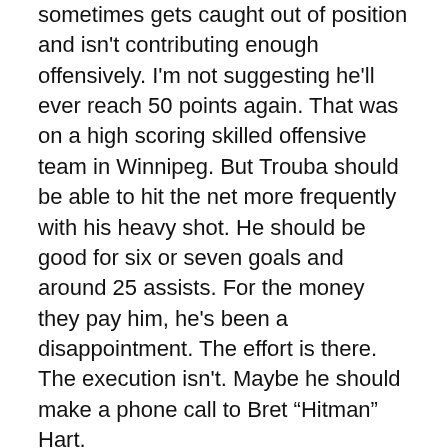sometimes gets caught out of position and isn't contributing enough offensively. I'm not suggesting he'll ever reach 50 points again. That was on a high scoring skilled offensive team in Winnipeg. But Trouba should be able to hit the net more frequently with his heavy shot. He should be good for six or seven goals and around 25 assists. For the money they pay him, he's been a disappointment. The effort is there. The execution isn't. Maybe he should make a phone call to Bret “Hitman” Hart.
I would guess Anthony Bitetto and Libor Hajek remain as the third pair. Why not? They haven't been bad. No glaring mistakes and Hajek is showing more confidence with the puck in his end.
Your guess is as good as mine as to what Devils team shows up later. It's their first game in 17 days. If the Rangers don't come out fast for this one, there's no point